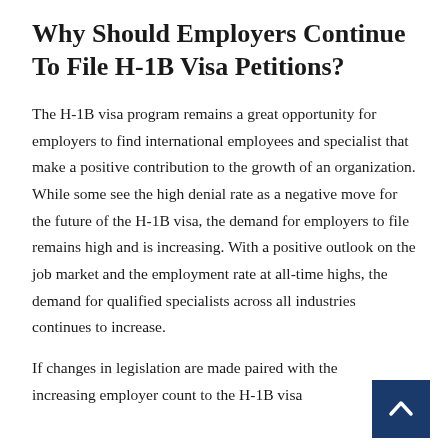Why Should Employers Continue To File H‑1B Visa Petitions?
The H‑1B visa program remains a great opportunity for employers to find international employees and specialist that make a positive contribution to the growth of an organization. While some see the high denial rate as a negative move for the future of the H‑1B visa, the demand for employers to file remains high and is increasing. With a positive outlook on the job market and the employment rate at all‑time highs, the demand for qualified specialists across all industries continues to increase.
If changes in legislation are made paired with the increasing employer count to the H‑1B visa...